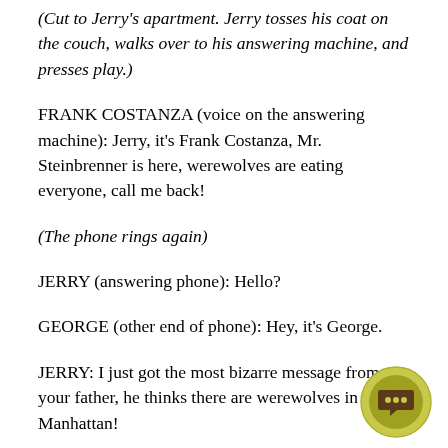(Cut to Jerry's apartment. Jerry tosses his coat on the couch, walks over to his answering machine, and presses play.)
FRANK COSTANZA (voice on the answering machine): Jerry, it's Frank Costanza, Mr. Steinbrenner is here, werewolves are eating everyone, call me back!
(The phone rings again)
JERRY (answering phone): Hello?
GEORGE (other end of phone): Hey, it's George.
JERRY: I just got the most bizarre message from your father, he thinks there are werewolves in Manhattan!
[Figure (illustration): A circular chat/message bubble icon with a khaki/yellow-green outer ring, olive inner circle, and a dark brown speech bubble with three dots, overlaid in the bottom-right corner of the page.]